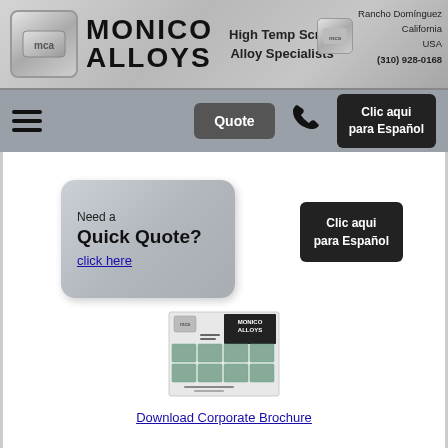[Figure (logo): Monico Alloys company header banner with logo, brand name, tagline 'High Temp Scrap Alloy Specialists', and contact info: Rancho Dominguez, California, USA, (310) 928-0168]
Rancho Dominguez California USA (310) 928-0168
[Figure (infographic): Navigation bar with hamburger menu, Quote button, phone icon, and Clic aqui para Español button]
[Figure (infographic): Quick Quote button box with text 'Need a Quick Quote? click here']
Clic aqui para Español
[Figure (illustration): Monico Alloys corporate brochure thumbnail image]
Download Corporate Brochure